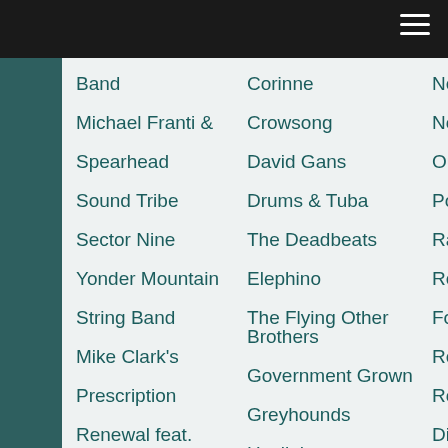Band
Michael Franti &
Spearhead
Sound Tribe
Sector Nine
Yonder Mountain
String Band
Mike Clark's
Prescription
Renewal feat.
Charlie Hunter,
Skerik, & Robert
Walter
Corinne
Crowsong
David Gans
Drums & Tuba
The Deadbeats
Elephino
The Flying Other Brothers
Government Grown
Greyhounds
Havilah
Jackstraw
Jacob Fred Jazz Odyssey
Jaka
Ne
No
Ou
Po
Ra
Re
Fo
Re
Ro
Di
So
An
Ba